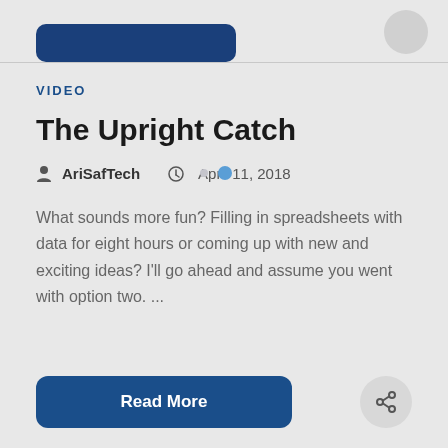[Figure (screenshot): Top bar with a dark blue rounded button and a circular share button partially visible at top]
VIDEO
The Upright Catch
AriSafTech   April 11, 2018
What sounds more fun? Filling in spreadsheets with data for eight hours or coming up with new and exciting ideas? I'll go ahead and assume you went with option two. ...
Read More